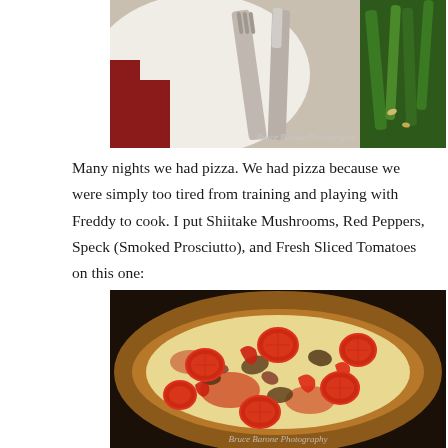[Figure (photo): Top portion of a plate with silverware (fork and knife) and green vegetables (likely green beans or asparagus) on a decorative tablecloth. Watermark reads 'Bruce Barone Photography'.]
Many nights we had pizza. We had pizza because we were simply too tired from training and playing with Freddy to cook. I put Shiitake Mushrooms, Red Peppers, Speck (Smoked Prosciutto), and Fresh Sliced Tomatoes on this one:
[Figure (photo): Close-up photograph of a pizza topped with sliced fresh tomatoes, red peppers, mushrooms, and Speck (smoked prosciutto), with melted cheese, in a dark pan. Watermark reads 'Bruce Barone Photography'.]